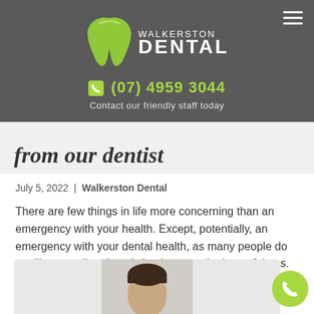[Figure (logo): Walkerston Dental logo with green tooth graphic and white text on grey background]
(07) 4959 3044
Contact our friendly staff today
from our dentist
July 5, 2022 | Walkerston Dental
There are few things in life more concerning than an emergency with your health. Except, potentially, an emergency with your dental health, as many people do not like attending dental check-ups at the best of times. Let alone when they are afraid and in discomfort!
[Figure (photo): Portrait photo of a young man from the shoulders up]